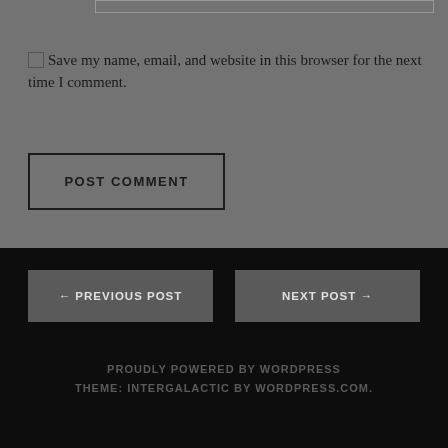Save my name, email, and website in this browser for the next time I comment.
POST COMMENT
← PREVIOUS POST
NEXT POST →
PROUDLY POWERED BY WORDPRESS
THEME: INTERGALACTIC BY WORDPRESS.COM.